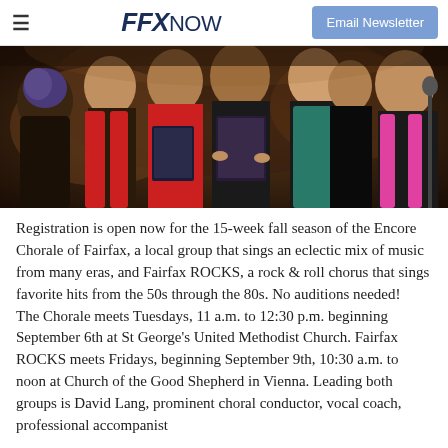FFX NOW | Email Newsletter
[Figure (photo): A group of people singing in a chorus/chorale, holding music folders, with colorful scarves and clothing, performing on stage.]
Registration is open now for the 15-week fall season of the Encore Chorale of Fairfax, a local group that sings an eclectic mix of music from many eras, and Fairfax ROCKS, a rock & roll chorus that sings favorite hits from the 50s through the 80s. No auditions needed! The Chorale meets Tuesdays, 11 a.m. to 12:30 p.m. beginning September 6th at St George's United Methodist Church. Fairfax ROCKS meets Fridays, beginning September 9th, 10:30 a.m. to noon at Church of the Good Shepherd in Vienna. Leading both groups is David Lang, prominent choral conductor, vocal coach, professional accompanist